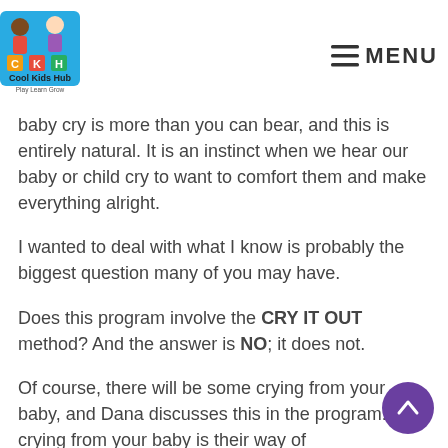Cool Kids Hub — Play Learn Grow | MENU
baby cry is more than you can bear, and this is entirely natural. It is an instinct when we hear our baby or child cry to want to comfort them and make everything alright.
I wanted to deal with what I know is probably the biggest question many of you may have.
Does this program involve the CRY IT OUT method? And the answer is NO; it does not.
Of course, there will be some crying from your baby, and Dana discusses this in the program. This crying from your baby is their way of